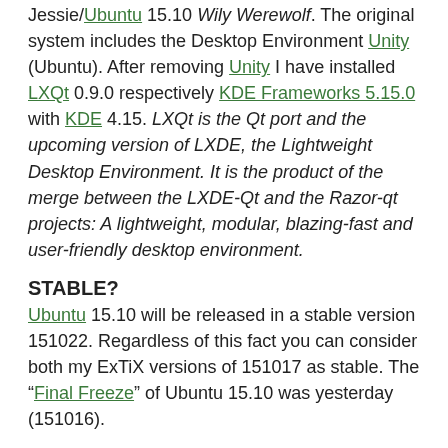Jessie/Ubuntu 15.10 Wily Werewolf. The original system includes the Desktop Environment Unity (Ubuntu). After removing Unity I have installed LXQt 0.9.0 respectively KDE Frameworks 5.15.0 with KDE 4.15. LXQt is the Qt port and the upcoming version of LXDE, the Lightweight Desktop Environment. It is the product of the merge between the LXDE-Qt and the Razor-qt projects: A lightweight, modular, blazing-fast and user-friendly desktop environment.
STABLE?
Ubuntu 15.10 will be released in a stable version 151022. Regardless of this fact you can consider both my ExTiX versions of 151017 as stable. The "Final Freeze" of Ubuntu 15.10 was yesterday (151016).
The system language is ENGLISH.
Used KERNEL
My special kernel 4.2.0-16-exton corresponding Kernel.org's